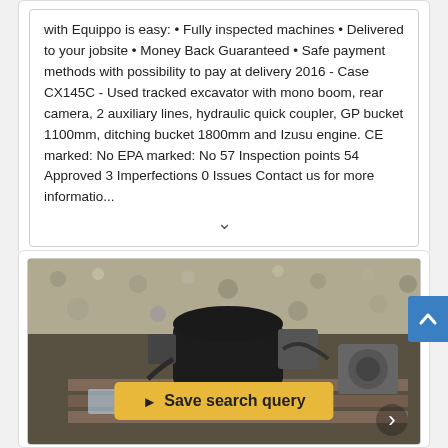with Equippo is easy: • Fully inspected machines • Delivered to your jobsite • Money Back Guaranteed • Safe payment methods with possibility to pay at delivery 2016 - Case CX145C - Used tracked excavator with mono boom, rear camera, 2 auxiliary lines, hydraulic quick coupler, GP bucket 1100mm, ditching bucket 1800mm and Izusu engine. CE marked: No EPA marked: No 57 Inspection points 54 Approved 3 Imperfections 0 Issues Contact us for more informatio...
[Figure (photo): Photo of industrial/mechanical equipment (likely a hydraulic pump or engine component) on a pallet, outdoors on gravel surface. A yellow 'Save search query' button overlay is visible on the image.]